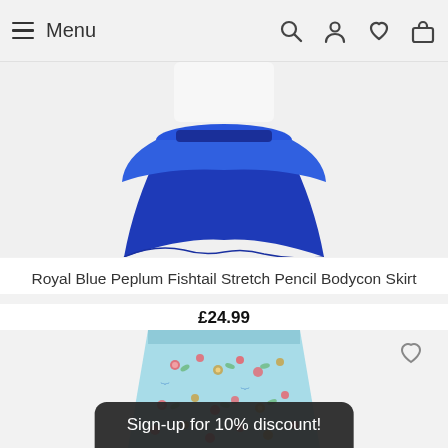Menu
[Figure (photo): Royal blue peplum fishtail stretch pencil bodycon skirt product photo, showing the flared blue skirt portion against a light background]
Royal Blue Peplum Fishtail Stretch Pencil Bodycon Skirt
£24.99
[Figure (photo): Light blue floral print skirt product photo with heart/wishlist icon in top right corner]
Sign-up for 10% discount!